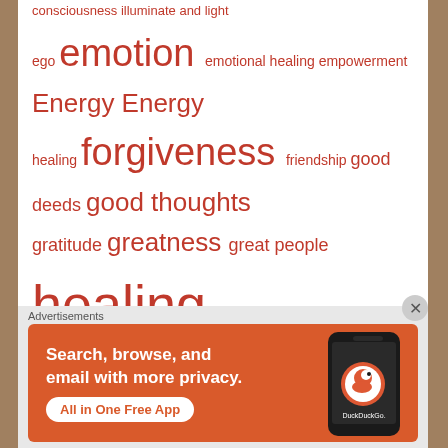consciousness illuminate and light ego emotion emotional healing empowerment Energy Energy healing forgiveness friendship good deeds good thoughts gratitude greatness great people healing health helping others Human Design humandesignmalaysia humandesignprojector information inner beauty inner strength intuition law of
Advertisements
[Figure (infographic): DuckDuckGo advertisement banner: 'Search, browse, and email with more privacy. All in One Free App' with phone graphic and DuckDuckGo logo]